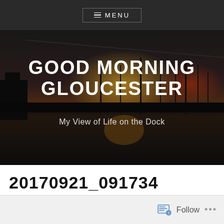≡ MENU
[Figure (photo): Dark harbor/dock scene at dusk with silhouetted masts and warm glow on the water]
GOOD MORNING GLOUCESTER
My View of Life on the Dock
20170921_091734
Follow ...